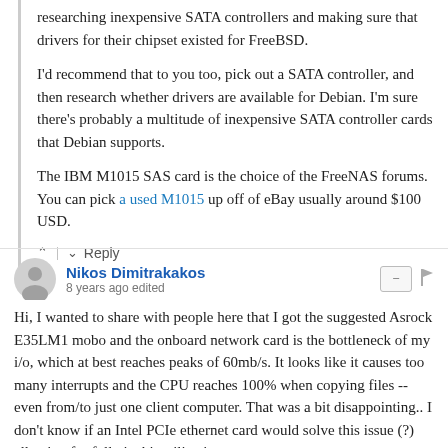researching inexpensive SATA controllers and making sure that drivers for their chipset existed for FreeBSD.
I'd recommend that to you too, pick out a SATA controller, and then research whether drivers are available for Debian. I'm sure there's probably a multitude of inexpensive SATA controller cards that Debian supports.
The IBM M1015 SAS card is the choice of the FreeNAS forums. You can pick a used M1015 up off of eBay usually around $100 USD.
^ | v   Reply
Nikos Dimitrakakos
8 years ago edited
Hi, I wanted to share with people here that I got the suggested Asrock E35LM1 mobo and the onboard network card is the bottleneck of my i/o, which at best reaches peaks of 60mb/s. It looks like it causes too many interrupts and the CPU reaches 100% when copying files -- even from/to just one client computer. That was a bit disappointing.. I don't know if an Intel PCIe ethernet card would solve this issue (?) allowing for full gigabit utilization.